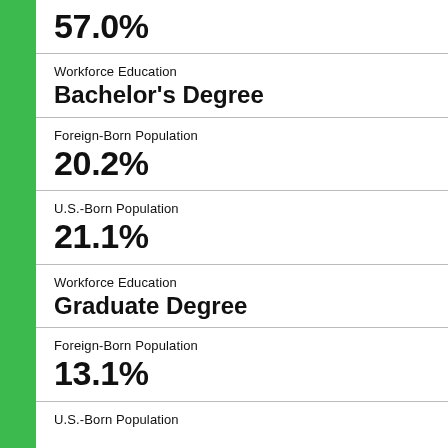57.0%
Workforce Education
Bachelor's Degree
Foreign-Born Population
20.2%
U.S.-Born Population
21.1%
Workforce Education
Graduate Degree
Foreign-Born Population
13.1%
U.S.-Born Population